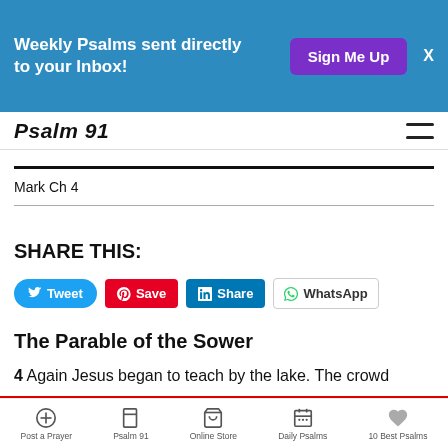Weekly Psalms sent directly to your Inbox! Sign Me Up
Psalm 91
Mark Ch 4
SHARE THIS:
[Figure (other): Social share buttons: Tweet (Twitter), Save (Pinterest), Share (LinkedIn), WhatsApp]
The Parable of the Sower
4 Again Jesus began to teach by the lake. The crowd
Post a Prayer   Psalm 91   Online Store   Daily Psalms   10 Best Psalms